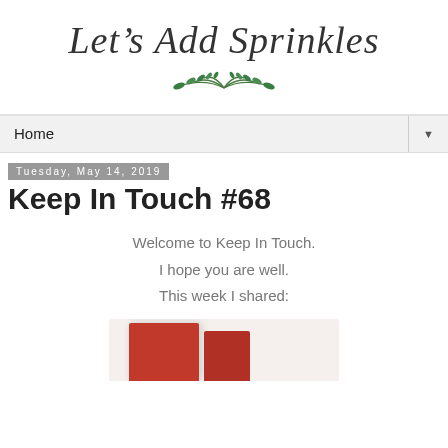Let's Add Sprinkles
[Figure (illustration): Green leaf/laurel branch decoration beneath the blog title]
Home
Tuesday, May 14, 2019
Keep In Touch #68
Welcome to Keep In Touch.
I hope you are well.
This week I shared:
[Figure (photo): Partial photo of a red object (appears to be a red book or folder) at the bottom of the page]